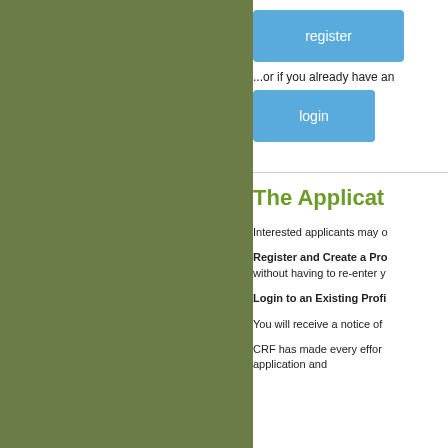[Figure (other): Green/olive colored left panel background]
[Figure (other): Blue 'register' button]
...or if you already have an
[Figure (other): Blue 'login' button]
The Applicat
Interested applicants may o
Register and Create a Pro without having to re-enter y
Login to an Existing Profi
You will receive a notice of
CRF has made every effor application and